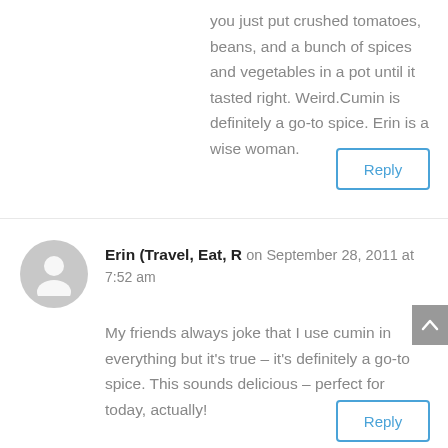you just put crushed tomatoes, beans, and a bunch of spices and vegetables in a pot until it tasted right. Weird.Cumin is definitely a go-to spice. Erin is a wise woman.
Reply
Erin (Travel, Eat, R on September 28, 2011 at 7:52 am
My friends always joke that I use cumin in everything but it's true – it's definitely a go-to spice. This sounds delicious – perfect for today, actually!
Reply